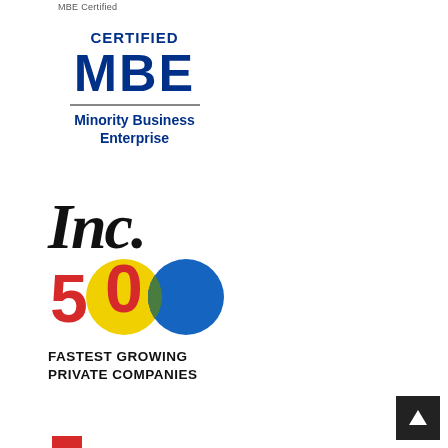MBE Certified
[Figure (logo): Certified MBE (Minority Business Enterprise) certification logo with large bold dark blue text 'CERTIFIED MBE' and a horizontal divider, followed by 'Minority Business Enterprise' in bold dark blue text below]
[Figure (logo): Inc. 500 Fastest Growing Private Companies logo featuring 'Inc.' in large black italic serif font, '500' with a red 5 and two overlapping colored circles (yellow-green and blue) for the two zeros, and 'FASTEST GROWING PRIVATE COMPANIES' in bold black text below]